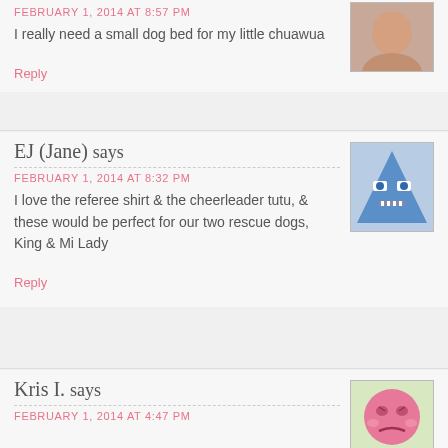FEBRUARY 1, 2014 AT 8:57 PM
I really need a small dog bed for my little chuawua
Reply
EJ (Jane) says
FEBRUARY 1, 2014 AT 8:32 PM
I love the referee shirt & the cheerleader tutu, & these would be perfect for our two rescue dogs, King & Mi Lady
Reply
Kris I. says
FEBRUARY 1, 2014 AT 4:47 PM